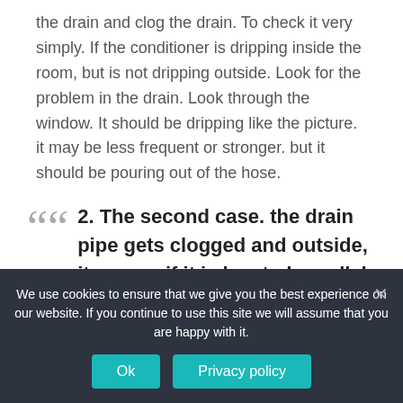the drain and clog the drain. To check it very simply. If the conditioner is dripping inside the room, but is not dripping outside. Look for the problem in the drain. Look through the window. It should be dripping like the picture. it may be less frequent or stronger. but it should be pouring out of the hose.
2. The second case. the drain pipe gets clogged and outside, it occurs if it is located parallel to the ground and there flies dust and fluff. In this case, try to look outside and check the drain on the
We use cookies to ensure that we give you the best experience on our website. If you continue to use this site we will assume that you are happy with it.